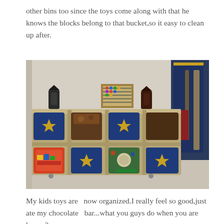other bins too since the toys come along with that he knows the blocks belong to that bucket,so it easy to clean up after.
[Figure (photo): A wooden cube storage unit on wheels with blue fabric bins decorated with yellow floral patterns, brown fabric bins, and colorful toy containers. On top sits an abacus and two dark lanterns. A closet with hanging items is visible in the background right.]
My kids toys are  now organized.I really feel so good,just ate my chocolate  bar...what you guys do when you are happy?